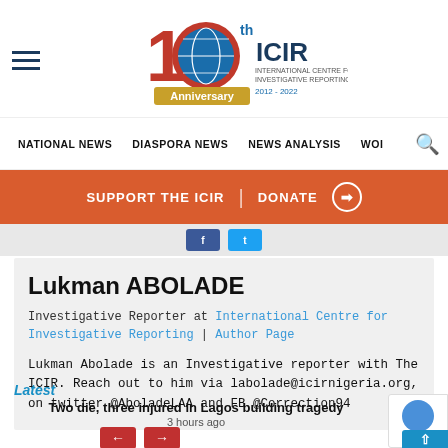ICIR — International Centre for Investigative Reporting — Anniversary 2012–2022
NATIONAL NEWS | DIASPORA NEWS | NEWS ANALYSIS | WO…
SUPPORT THE ICIR | DONATE →
Lukman ABOLADE
Investigative Reporter at International Centre for Investigative Reporting | Author Page
Lukman Abolade is an Investigative reporter with The ICIR. Reach out to him via labolade@icirnigeria.org, on twitter @AboladeLAA and FB @Correction94
Latest
Two die, three injured in Lagos building tragedy
3 hours ago